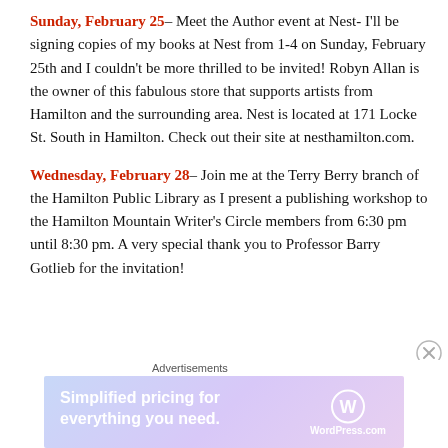Sunday, February 25– Meet the Author event at Nest- I'll be signing copies of my books at Nest from 1-4 on Sunday, February 25th and I couldn't be more thrilled to be invited! Robyn Allan is the owner of this fabulous store that supports artists from Hamilton and the surrounding area. Nest is located at 171 Locke St. South in Hamilton. Check out their site at nesthamilton.com.
Wednesday, February 28– Join me at the Terry Berry branch of the Hamilton Public Library as I present a publishing workshop to the Hamilton Mountain Writer's Circle members from 6:30 pm until 8:30 pm. A very special thank you to Professor Barry Gotlieb for the invitation!
Advertisements
[Figure (other): WordPress.com advertisement banner: 'Simplified pricing for everything you need.' with WordPress.com logo on gradient background.]